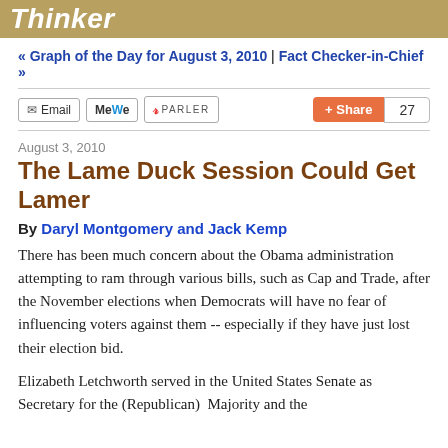Thinker
« Graph of the Day for August 3, 2010 | Fact Checker-in-Chief »
Email  MeWe  PARLER  Share  27
August 3, 2010
The Lame Duck Session Could Get Lamer
By Daryl Montgomery and Jack Kemp
There has been much concern about the Obama administration attempting to ram through various bills, such as Cap and Trade, after the November elections when Democrats will have no fear of influencing voters against them -- especially if they have just lost their election bid.
Elizabeth Letchworth served in the United States Senate as Secretary for the (Republican)  Majority and the